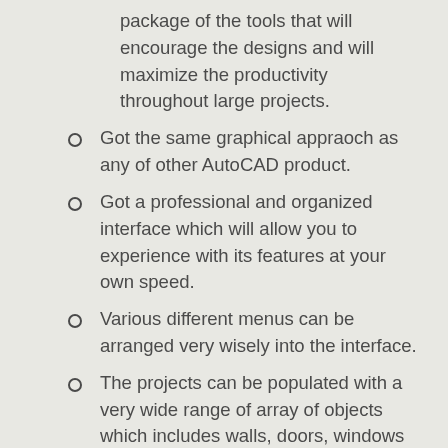package of the tools that will encourage the designs and will maximize the productivity throughout large projects.
Got the same graphical appraoch as any of other AutoCAD product.
Got a professional and organized interface which will allow you to experience with its features at your own speed.
Various different menus can be arranged very wisely into the interface.
The projects can be populated with a very wide range of array of objects which includes walls, doors, windows and various other elements.